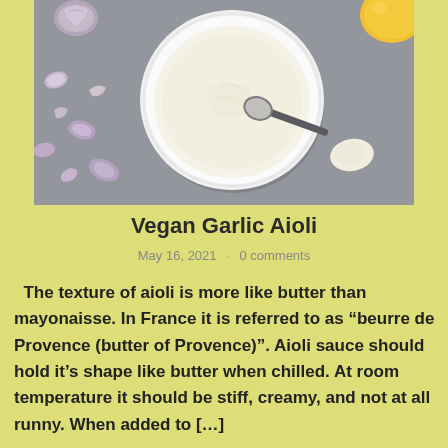[Figure (photo): Overhead photo of a white bowl containing creamy white aioli sauce, surrounded by scattered garlic cloves and garlic skins on a gray surface, with a spoon resting next to the bowl and a lemon partially visible in the top-right corner.]
Vegan Garlic Aioli
May 16, 2021  ·  0 comments
The texture of aioli is more like butter than mayonaisse. In France it is referred to as “beurre de Provence (butter of Provence)”. Aioli sauce should hold it’s shape like butter when chilled. At room temperature it should be stiff, creamy, and not at all runny. When added to [...]